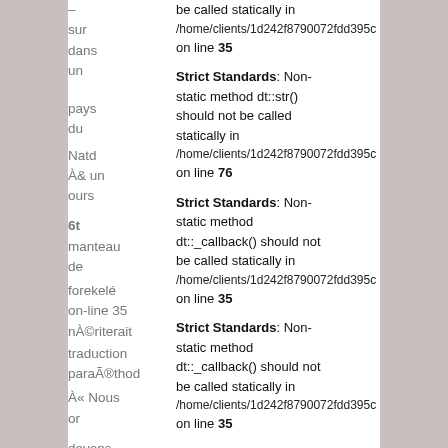be called statically in /home/clients/1d242f8790072fdd395c on line 35
Strict Standards: Non-static method dt::str() should not be called statically in /home/clients/1d242f8790072fdd395c on line 76
Strict Standards: Non-static method dt::_callback() should not be called statically in /home/clients/1d242f8790072fdd395c on line 35
Strict Standards: Non-static method dt::_callback() should not be called statically in /home/clients/1d242f8790072fdd395c on line 35
Strict Standards: Non-static method dt::str() should not be called statically in /home/clients/1d242f8790072fdd395c on line 76